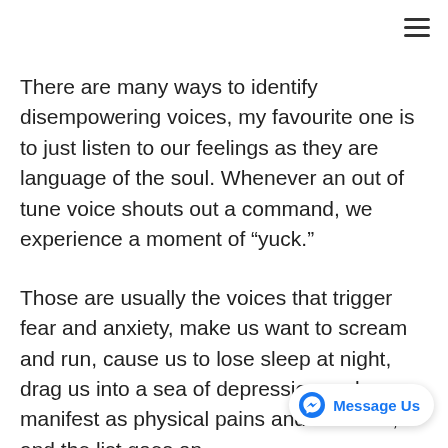There are many ways to identify disempowering voices, my favourite one is to just listen to our feelings as they are language of the soul. Whenever an out of tune voice shouts out a command, we experience a moment of “yuck.”
Those are usually the voices that trigger fear and anxiety, make us want to scream and run, cause us to lose sleep at night, drag us into a sea of depression and manifest as physical pains and illnesses, and the list goes on.